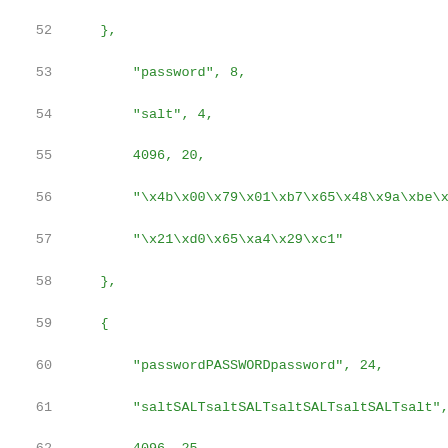Code listing lines 52-72 showing password/salt test vectors
52    },
53        "password", 8,
54        "salt", 4,
55        4096, 20,
56        "\x4b\x00\x79\x01\xb7\x65\x48\x9a\xbe\xad\x..."
57        "\x21\xd0\x65\xa4\x29\xc1"
58    },
59    {
60        "passwordPASSWORDpassword", 24,
61        "saltSALTsaltSALTsaltSALTsaltSALTsalt", 36,
62        4096, 25,
63        "\x3d\x2e\xec\x4f\xe4\x1c\x84\x9b\x80\xc8\x..."
64        "\xe4\x4a\x8b\x29\x1a\x96\x4c\xf2\xf0\x70\x..."
65    },
66    {
67        "pass\0word", 9,
68        "sa\0lt", 5,
69        4096, 16,
70        "\x56\xfa\x6a\xa7\x55\x48\x09\x9d\xcc\x37\x..."
71    }
72 };